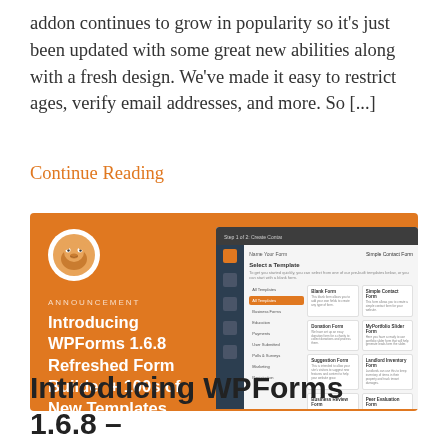addon continues to grow in popularity so it's just been updated with some great new abilities along with a fresh design. We've made it easy to restrict ages, verify email addresses, and more. So [...]
Continue Reading
[Figure (screenshot): Orange banner with WPForms mascot logo on left, text 'ANNOUNCEMENT' and 'Introducing WPForms 1.6.8 Refreshed Form Builder + 100s of New Templates', and a screenshot of the WPForms form builder interface on the right showing template selection]
Introducing WPForms 1.6.8 –